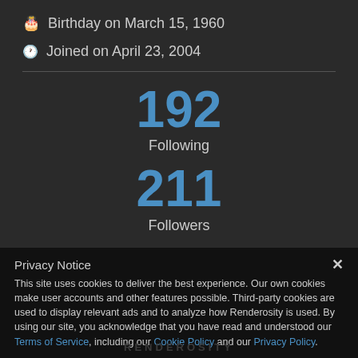🎂 Birthday on March 15, 1960
🕐 Joined on April 23, 2004
192
Following
211
Followers
Privacy Notice
This site uses cookies to deliver the best experience. Our own cookies make user accounts and other features possible. Third-party cookies are used to display relevant ads and to analyze how Renderosity is used. By using our site, you acknowledge that you have read and understood our Terms of Service, including our Cookie Policy and our Privacy Policy.